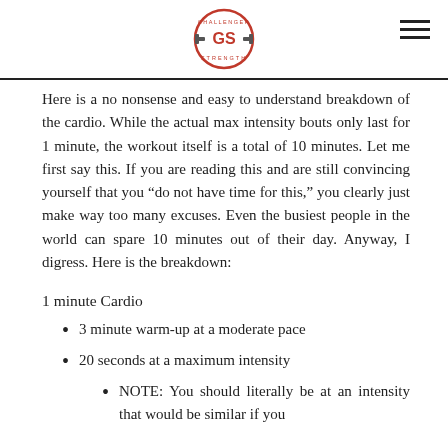Challenger Strength logo and navigation
Here is a no nonsense and easy to understand breakdown of the cardio. While the actual max intensity bouts only last for 1 minute, the workout itself is a total of 10 minutes. Let me first say this. If you are reading this and are still convincing yourself that you “do not have time for this,” you clearly just make way too many excuses. Even the busiest people in the world can spare 10 minutes out of their day. Anyway, I digress. Here is the breakdown:
1 minute Cardio
3 minute warm-up at a moderate pace
20 seconds at a maximum intensity
NOTE: You should literally be at an intensity that would be similar if you